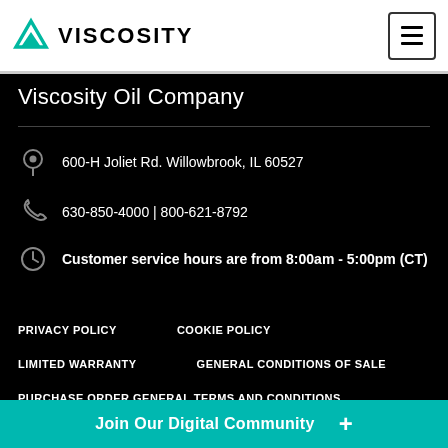VISCOSITY
Viscosity Oil Company
600-H Joliet Rd. Willowbrook, IL 60527
630-850-4000 | 800-621-8792
Customer service hours are from 8:00am - 5:00pm (CT)
PRIVACY POLICY
COOKIE POLICY
LIMITED WARRANTY
GENERAL CONDITIONS OF SALE
PURCHASE ORDER GENERAL TERMS AND CONDITIONS
Join Our Digital Community +